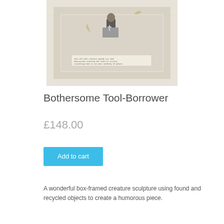[Figure (photo): A box-framed creature sculpture in a white distressed wooden frame, showing a small figure with tools, with a small printed label inside the frame]
Bothersome Tool-Borrower
£148.00
Add to cart
A wonderful box-framed creature sculpture using found and recycled objects to create a humorous piece.
The Bothersome Tool-Borrower...